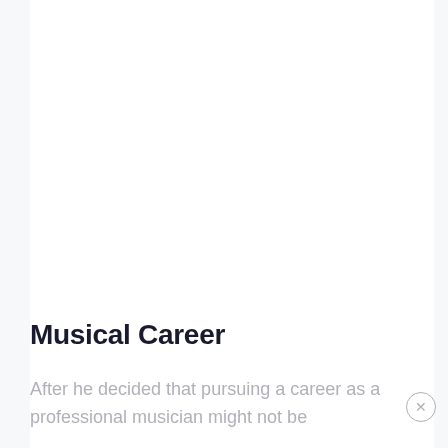Musical Career
After he decided that pursuing a career as a professional musician might not be